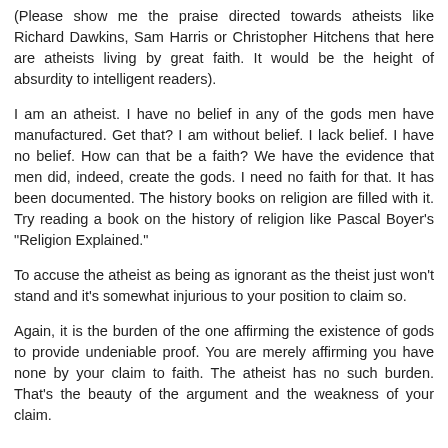(Please show me the praise directed towards atheists like Richard Dawkins, Sam Harris or Christopher Hitchens that here are atheists living by great faith. It would be the height of absurdity to intelligent readers).
I am an atheist. I have no belief in any of the gods men have manufactured. Get that? I am without belief. I lack belief. I have no belief. How can that be a faith? We have the evidence that men did, indeed, create the gods. I need no faith for that. It has been documented. The history books on religion are filled with it. Try reading a book on the history of religion like Pascal Boyer's "Religion Explained."
To accuse the atheist as being as ignorant as the theist just won't stand and it's somewhat injurious to your position to claim so.
Again, it is the burden of the one affirming the existence of gods to provide undeniable proof. You are merely affirming you have none by your claim to faith. The atheist has no such burden. That's the beauty of the argument and the weakness of your claim.